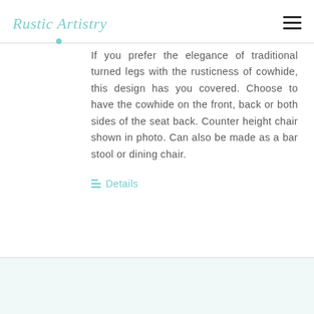Rustic Artistry
If you prefer the elegance of traditional turned legs with the rusticness of cowhide, this design has you covered. Choose to have the cowhide on the front, back or both sides of the seat back. Counter height chair shown in photo. Can also be made as a bar stool or dining chair.
Details